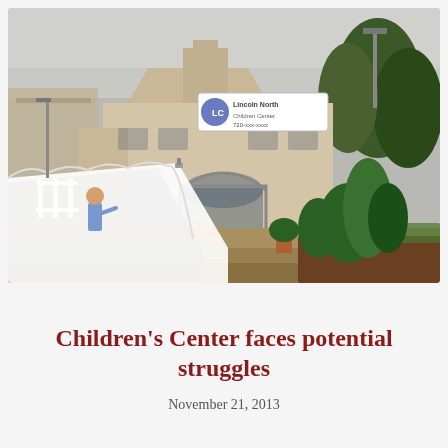[Figure (photo): Exterior photo of a children's center building. A beige/tan building with a large arched window and a peaked roofline is shown. A banner/sign with a circular logo is on the building's facade. In the foreground are raised garden beds with plants. On the left, a small child is visible in a playground area. Trees are visible on the right side. An angled white fence/barrier is in the foreground.]
Children's Center faces potential struggles
November 21, 2013